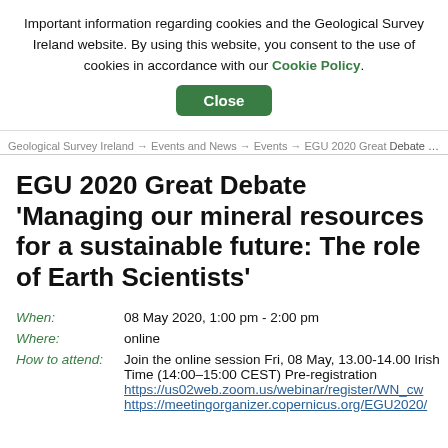Important information regarding cookies and the Geological Survey Ireland website. By using this website, you consent to the use of cookies in accordance with our Cookie Policy.
Close
Geological Survey Ireland > Events and News > Events > EGU 2020 Great Debate 'Managing our mineral resources for a sustainable future: The role of Earth Scientists'
EGU 2020 Great Debate 'Managing our mineral resources for a sustainable future: The role of Earth Scientists'
| Field | Value |
| --- | --- |
| When: | 08 May 2020, 1:00 pm - 2:00 pm |
| Where: | online |
| How to attend: | Join the online session Fri, 08 May, 13.00-14.00 Irish Time (14:00–15:00 CEST) Pre-registration https://us02web.zoom.us/webinar/register/WN_cw... https://meetingorganizer.copernicus.org/EGU2020/... |